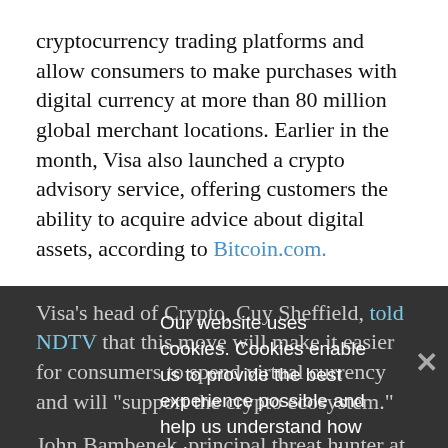cryptocurrency trading platforms and allow consumers to make purchases with digital currency at more than 80 million global merchant locations. Earlier in the month, Visa also launched a crypto advisory service, offering customers the ability to acquire advice about digital assets, according to Bitcoin.com.
Visa's head of Crypto, Cuy Sheffield, told NDTV that this move will make it easier for consumers to spend virtual currency and will "support the crypto ecosystem."
Our website uses cookies. Cookies enable us to provide the best experience possible and help us understand how visitors use our website. By browsing databreachtoday.com, you agree to our use of cookies.
John Bambenek, principal threat hunter at the firm Netenrich, says the move - which comes amid wider adoption trends - could still pose governance, risk management and compliance challenges, as regulators continue to assess digital assets and their interaction with traditional financial institutions.
"If Crypto currency started as a way to get out of the